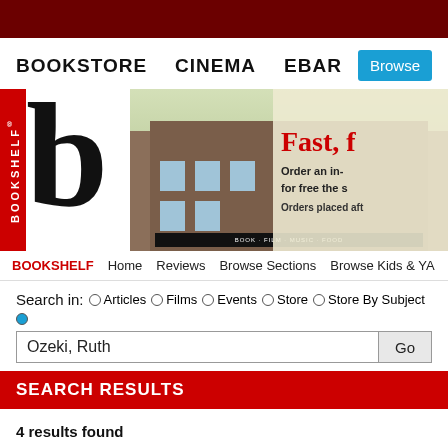BOOKSTORE   CINEMA   EBAR
[Figure (photo): Bookshelf bookstore banner image showing the storefront building with flying book pages and promotional text 'Fast, f... Order an in- for free the s Orders placed aft']
Home   Reviews   Browse Sections   Browse Kids & YA
Search in:  ○ Articles  ○ Films  ○ Events  ○ Store  ○ Store By Subject  ●
Ozeki, Ruth
SEARCH RESULTS
4 results found